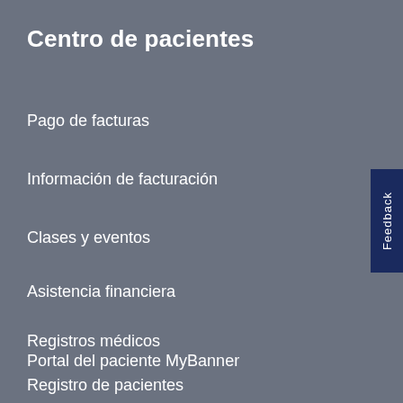Centro de pacientes
Pago de facturas
Información de facturación
Clases y eventos
Asistencia financiera
Registros médicos
Portal del paciente MyBanner
Registro de pacientes